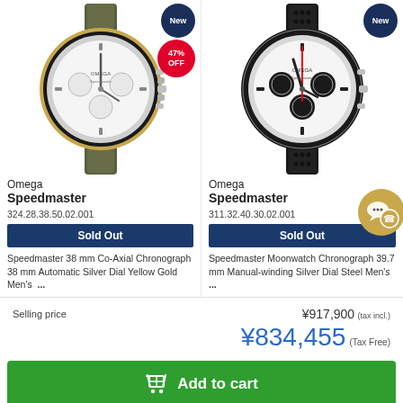[Figure (photo): Omega Speedmaster watch with olive green crocodile strap, gold bezel, white dial, with 'New' badge and '47% OFF' badge]
Omega Speedmaster
324.28.38.50.02.001
Sold Out
Speedmaster 38 mm Co-Axial Chronograph 38 mm Automatic Silver Dial Yellow Gold Men's ...
[Figure (photo): Omega Speedmaster Moonwatch with black perforated leather strap, black bezel, white/black panda dial, red chronograph hand, with 'New' badge]
Omega Speedmaster
311.32.40.30.02.001
Sold Out
Speedmaster Moonwatch Chronograph 39.7 mm Manual-winding Silver Dial Steel Men's ...
Selling price
¥917,900 (tax incl.)
¥834,455 (Tax Free)
Add to cart